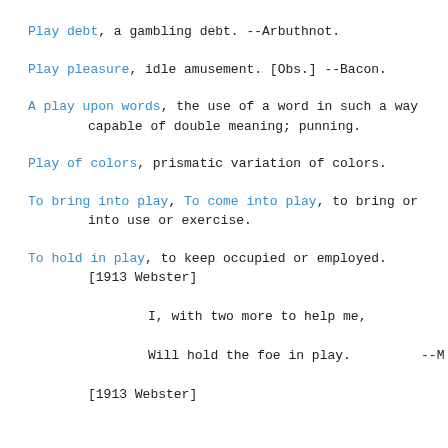Play debt, a gambling debt. --Arbuthnot.
Play pleasure, idle amusement. [Obs.] --Bacon.
A play upon words, the use of a word in such a way capable of double meaning; punning.
Play of colors, prismatic variation of colors.
To bring into play, To come into play, to bring or into use or exercise.
To hold in play, to keep occupied or employed. [1913 Webster]
    I, with two more to help me,
    Will hold the foe in play.      --M
[1913 Webster]